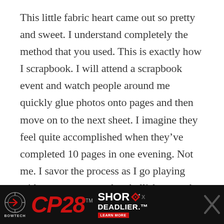This little fabric heart came out so pretty and sweet. I understand completely the method that you used. This is exactly how I scrapbook. I will attend a scrapbook event and watch people around me quickly glue photos onto pages and then move on to the next sheet. I imagine they feel quite accomplished when they've completed 10 pages in one evening. Not me. I savor the process as I go playing with paper scraps and embellishments that I have left from other projects as I compose a page that compliments the photo–unique, detailed, and handcrafted reflective of my sensibilities.
[Figure (other): Advertisement banner for Bowtech CP28 bow. Black background with Bowtech logo on left, large red CP28 text in center, and 'SHOR DEADLIER.' text on right with a Learn More button.]